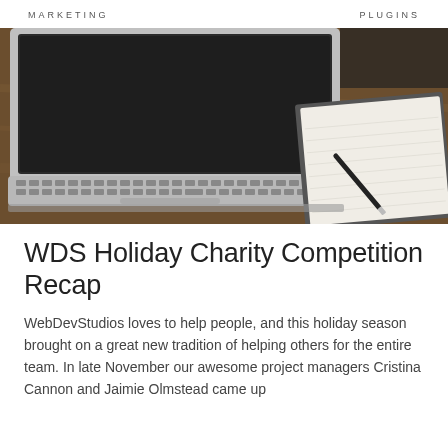MARKETING    PLUGINS
[Figure (photo): A laptop with keyboard visible and an open notebook with a pen resting on it, placed on a wooden table. The scene is photographed from above at an angle showing the laptop and notebook side by side.]
WDS Holiday Charity Competition Recap
WebDevStudios loves to help people, and this holiday season brought on a great new tradition of helping others for the entire team. In late November our awesome project managers Cristina Cannon and Jaimie Olmstead came up